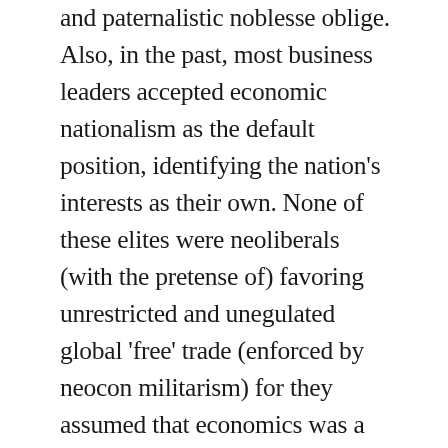and paternalistic noblesse oblige. Also, in the past, most business leaders accepted economic nationalism as the default position, identifying the nation's interests as their own. None of these elites were neoliberals (with the pretense of) favoring unrestricted and unegulated global 'free' trade (enforced by neocon militarism) for they assumed that economics was a part of politics, and that both were defined by patriotic loyalty to one's country. This would've meant an old boy's club, just not a deep state as we know it and certainly not inverted totalitarianism.